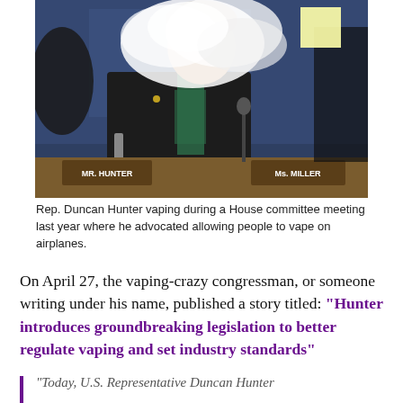[Figure (photo): Rep. Duncan Hunter vaping during a House committee meeting, holding a vaping device with a large cloud of vapor visible. Name placards read 'Mr. Hunter' and 'Ms. Miller' on a wooden desk. Blue background.]
Rep. Duncan Hunter vaping during a House committee meeting last year where he advocated allowing people to vape on airplanes.
On April 27, the vaping-crazy congressman, or someone writing under his name, published a story titled: “Hunter introduces groundbreaking legislation to better regulate vaping and set industry standards”
“Today, U.S. Representative Duncan Hunter